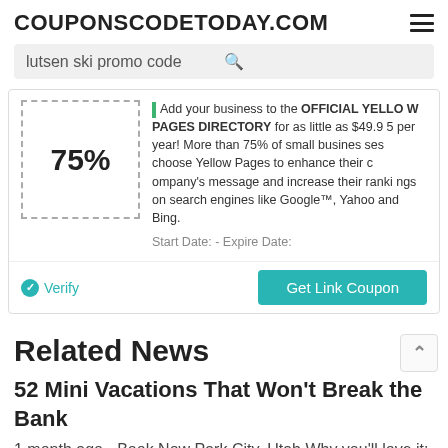COUPONSCODETODAY.COM
lutsen ski promo code
75%
Add your business to the OFFICIAL YELLOW PAGES DIRECTORY for as little as $49.95 per year! More than 75% of small businesses choose Yellow Pages to enhance their company's message and increase their rankings on search engines like Google™, Yahoo and Bing.
Start Date: - Expire Date:
Verify
Get Link Coupon
Related News
52 Mini Vacations That Won't Break the Bank
1 month ago - Book Now Park City, Utah Why you'll love it: During the winter, Park City is a veritable wonderland